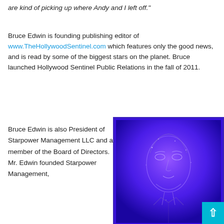are kind of picking up where Andy and I left off."
Bruce Edwin is founding publishing editor of www.TheHollywoodSentinel.com which features only the good news, and is read by some of the biggest stars on the planet. Bruce launched Hollywood Sentinel Public Relations in the fall of 2011.
Bruce Edwin is also President of Starpower Management LLC and a member of the Board of Directors. Mr. Edwin founded Starpower Management,
[Figure (photo): A blue/purple toned artistic portrait photo of a person's face, rendered in deep violet and blue hues with a glowing effect. The image has a dark blue/indigo border.]